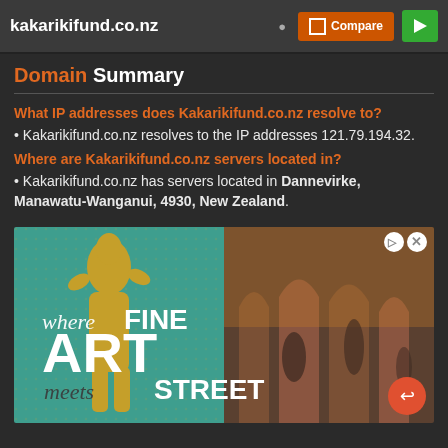kakarikifund.co.nz
Domain Summary
What IP addresses does Kakarikifund.co.nz resolve to?
Kakarikifund.co.nz resolves to the IP addresses 121.79.194.32.
Where are Kakarikifund.co.nz servers located in?
Kakarikifund.co.nz has servers located in Dannevirke, Manawatu-Wanganui, 4930, New Zealand.
[Figure (illustration): Advertisement banner: 'where FINE ART meets STREET ART' on teal background with golden statue silhouette on left and interior photo of ornate hall on right]